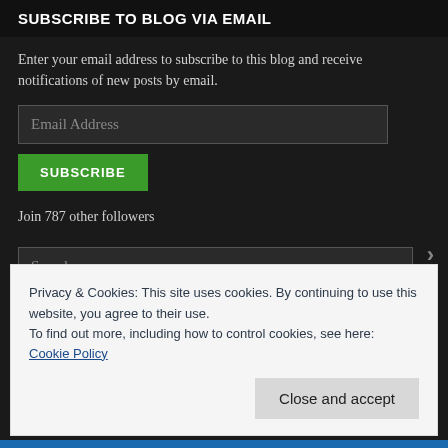SUBSCRIBE TO BLOG VIA EMAIL
Enter your email address to subscribe to this blog and receive notifications of new posts by email.
Email Address
SUBSCRIBE
Join 787 other followers
Search ...
Privacy & Cookies: This site uses cookies. By continuing to use this website, you agree to their use.
To find out more, including how to control cookies, see here:
Cookie Policy
Close and accept